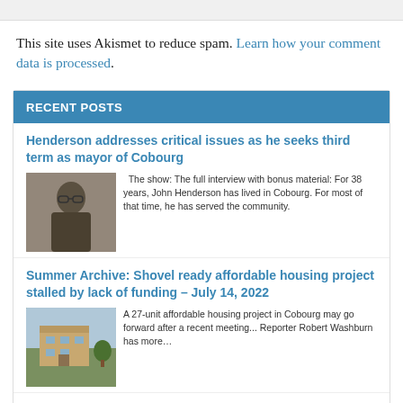This site uses Akismet to reduce spam. Learn how your comment data is processed.
RECENT POSTS
Henderson addresses critical issues as he seeks third term as mayor of Cobourg
The show: The full interview with bonus material: For 38 years, John Henderson has lived in Cobourg. For most of that time, he has served the community.
Summer Archive: Shovel ready affordable housing project stalled by lack of funding – July 14, 2022
A 27-unit affordable housing project in Cobourg may go forward after a recent meeting... Reporter Robert Washburn has more…
Summer Archives: Cobourg police officer dragged during routine stop – July 6, 2022